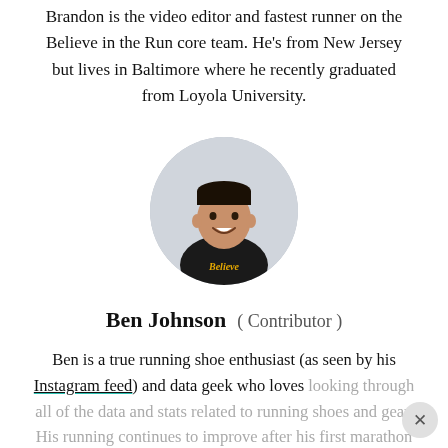Brandon is the video editor and fastest runner on the Believe in the Run core team. He’s from New Jersey but lives in Baltimore where he recently graduated from Loyola University.
[Figure (photo): Circular profile photo of Ben Johnson wearing a black 'Believe' t-shirt, smiling against a light background.]
Ben Johnson ( Contributor )
Ben is a true running shoe enthusiast (as seen by his Instagram feed) and data geek who loves looking through all of the data and stats related to running shoes and gear. His running continues to improve after his first marathon in June 2019